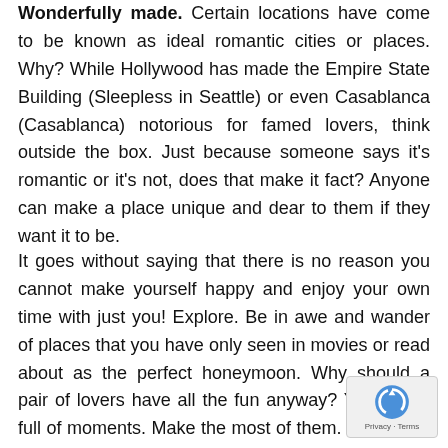Wonderfully made. Certain locations have come to be known as ideal romantic cities or places. Why? While Hollywood has made the Empire State Building (Sleepless in Seattle) or even Casablanca (Casablanca) notorious for famed lovers, think outside the box. Just because someone says it's romantic or it's not, does that make it fact? Anyone can make a place unique and dear to them if they want it to be.
It goes without saying that there is no reason you cannot make yourself happy and enjoy your own time with just you! Explore. Be in awe and wander of places that you have only seen in movies or read about as the perfect honeymoon. Why should a pair of lovers have all the fun anyway? Your life is full of moments. Make the most of them. Determine the cost of your dream destination, make a plan, and contribute to it each month until you reach your goal. And if a friend happens to go with you, enjoy the time with them, as